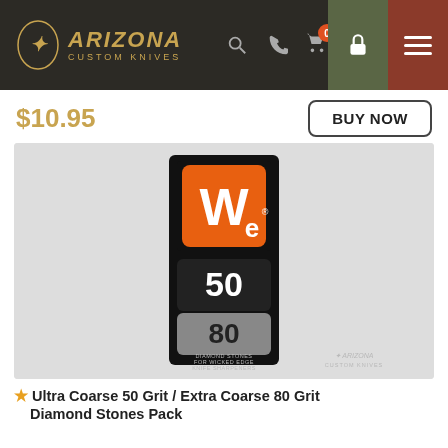Arizona Custom Knives — navigation header with logo, search, phone, cart (0), lock, and menu icons
$10.95
BUY NOW
[Figure (photo): Product photo of a Wicked Edge (We) Diamond Stones box, black packaging showing grit numbers 50 and 80, with text: DIAMOND STONES FOR WICKED EDGE KNIFE SHARPENERS. Arizona Custom Knives watermark in lower right.]
⭐ Ultra Coarse 50 Grit / Extra Coarse 80 Grit Diamond Stones Pack